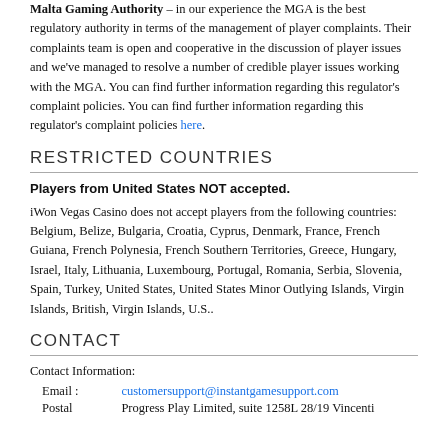Malta Gaming Authority – in our experience the MGA is the best regulatory authority in terms of the management of player complaints. Their complaints team is open and cooperative in the discussion of player issues and we've managed to resolve a number of credible player issues working with the MGA. You can find further information regarding this regulator's complaint policies. You can find further information regarding this regulator's complaint policies here.
RESTRICTED COUNTRIES
Players from United States NOT accepted.
iWon Vegas Casino does not accept players from the following countries: Belgium, Belize, Bulgaria, Croatia, Cyprus, Denmark, France, French Guiana, French Polynesia, French Southern Territories, Greece, Hungary, Israel, Italy, Lithuania, Luxembourg, Portugal, Romania, Serbia, Slovenia, Spain, Turkey, United States, United States Minor Outlying Islands, Virgin Islands, British, Virgin Islands, U.S..
CONTACT
Contact Information:
Email : customersupport@instantgamesupport.com
Postal Progress Play Limited, suite 1258L 28/19 Vincenti